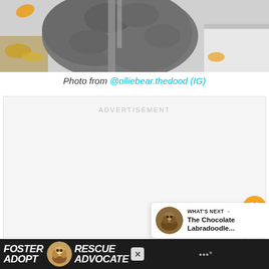[Figure (photo): Top portion of a gray fluffy dog (Labradoodle or similar breed) with a leash, photographed from above on a light surface with fallen leaves visible]
Photo from @olliebear.thedood (IG)
ADVERTISEMENT
[Figure (screenshot): Like button (heart icon in gold/orange circle), count of 28, and share button (white circle with share icon)]
[Figure (infographic): WHAT'S NEXT panel showing thumbnail of brown dog and text 'The Chocolate Labradoodle...']
[Figure (photo): Bottom banner advertisement: dark background with FOSTER / ADOPT text, dog photo, RESCUE / ADVOCATE text, close button, and Waze logo]